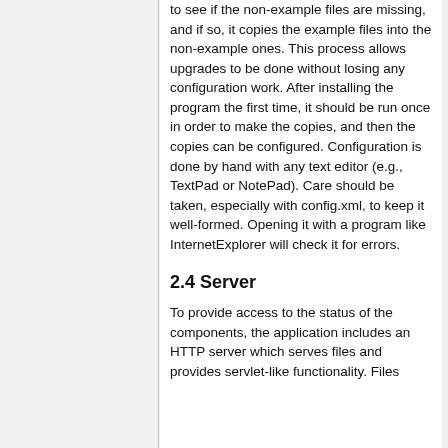to see if the non-example files are missing, and if so, it copies the example files into the non-example ones. This process allows upgrades to be done without losing any configuration work. After installing the program the first time, it should be run once in order to make the copies, and then the copies can be configured. Configuration is done by hand with any text editor (e.g., TextPad or NotePad). Care should be taken, especially with config.xml, to keep it well-formed. Opening it with a program like InternetExplorer will check it for errors.
2.4 Server
To provide access to the status of the components, the application includes an HTTP server which serves files and provides servlet-like functionality. Files